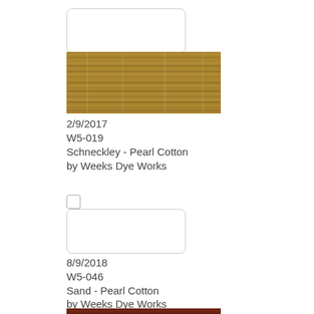[Figure (photo): Swatch box (empty/white) with rounded corners]
[Figure (photo): Swatch showing golden-brown striated thread texture for Schneckley Pearl Cotton]
2/9/2017
W5-019
Schneckley - Pearl Cotton
by Weeks Dye Works
[Figure (photo): Checkbox (unchecked)]
[Figure (photo): Swatch box (empty/white) with rounded corners]
8/9/2018
W5-046
Sand - Pearl Cotton
by Weeks Dye Works
[Figure (photo): Checkbox (unchecked)]
[Figure (photo): Swatch box (empty/white) with rounded corners, partially visible]
[Figure (photo): Partial swatch showing dark reddish-brown thread texture at bottom of page]